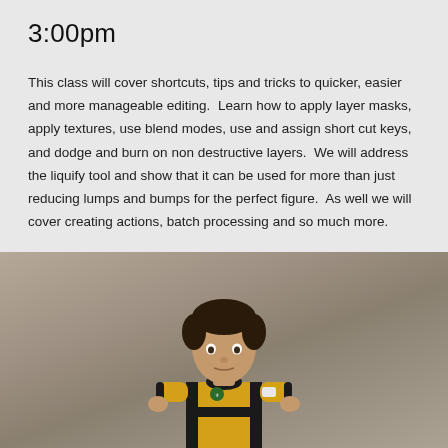3:00pm
This class will cover shortcuts, tips and tricks to quicker, easier and more manageable editing.  Learn how to apply layer masks, apply textures, use blend modes, use and assign short cut keys, and dodge and burn on non destructive layers.  We will address the liquify tool and show that it can be used for more than just reducing lumps and bumps for the perfect figure.  As well we will cover creating actions, batch processing and so much more.
[Figure (photo): A young boy wearing a black and yellow rugby jersey, standing against a neutral grey-brown background, looking directly at the camera.]